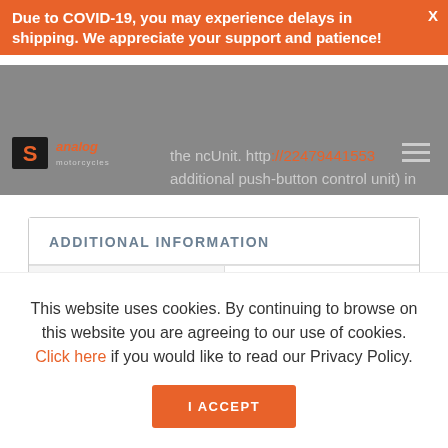Due to COVID-19, you may experience delays in shipping. We appreciate your support and patience!
[Figure (logo): Analog Motorcycles logo with stylized S symbol]
the ncUnit. http://22479441553 additional push-button control unit) in Relay+
| ADDITIONAL INFORMATION |  |
| --- | --- |
| Weight | 0.3 lbs |
This website uses cookies. By continuing to browse on this website you are agreeing to our use of cookies. Click here if you would like to read our Privacy Policy.
I ACCEPT